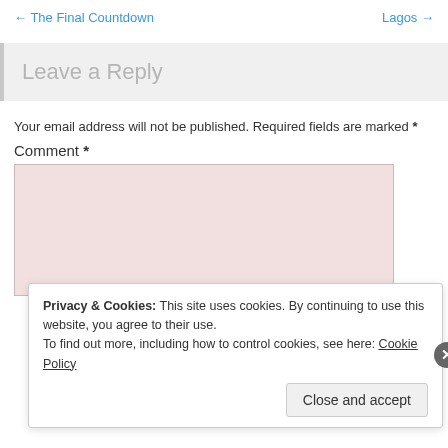← The Final Countdown    Lagos →
Leave a Reply
Your email address will not be published. Required fields are marked *
Comment *
Privacy & Cookies: This site uses cookies. By continuing to use this website, you agree to their use.
To find out more, including how to control cookies, see here: Cookie Policy
Close and accept